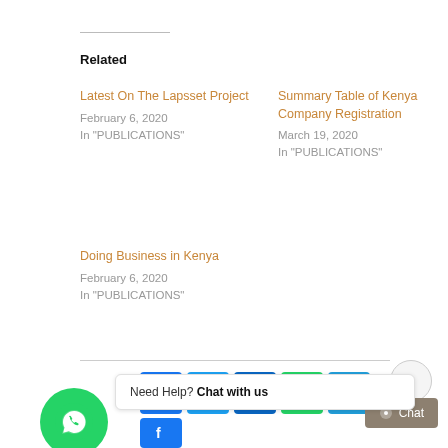Related
Latest On The Lapsset Project
February 6, 2020
In "PUBLICATIONS"
Summary Table of Kenya Company Registration
March 19, 2020
In "PUBLICATIONS"
Doing Business in Kenya
February 6, 2020
In "PUBLICATIONS"
[Figure (infographic): Social sharing icons: Facebook, Twitter, LinkedIn, WhatsApp, Telegram]
Need Help? Chat with us